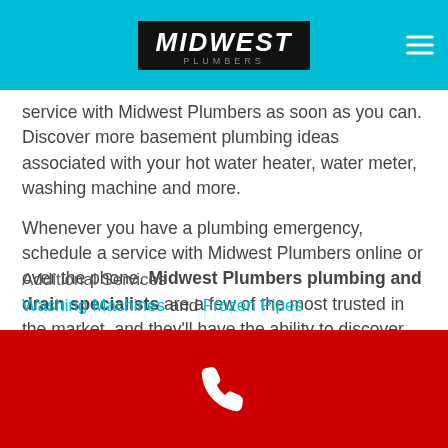[Figure (logo): Midwest Plumbers logo in black box with hamburger menu on cyan header bar]
service with Midwest Plumbers as soon as you can. Discover more basement plumbing ideas associated with your hot water heater, water meter, washing machine and more.
Whenever you have a plumbing emergency, schedule a service with Midwest Plumbers online or over the phone. Midwest Plumbers plumbing and drain specialists are a few of the most trusted in the market, and they'll have the ability to discover and fix your plumbing issue whatever it may be.
Additional Services
Washing Machines and Frozen Pipes
[Figure (illustration): White phone handset icon on red footer bar]